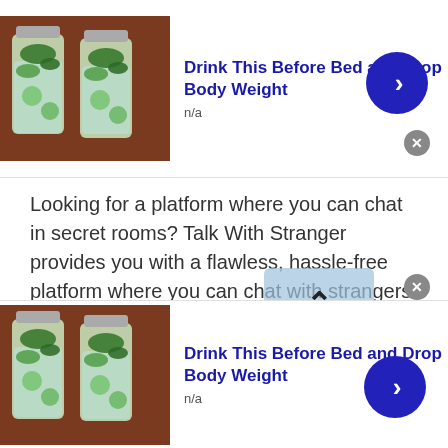[Figure (photo): Ad banner at top showing green vegetable drink in mason jars with text 'Drink This Before Bed and Drop Body Weight' and navigation arrow button]
Looking for a platform where you can chat in secret rooms? Talk With Stranger provides you with a flawless, hassle-free platform where you can chat with strangers from anywhere in the world without having to go through difficult and long registration processes.
Talk With Stranger provides you with the freedom to create your own chat rooms to provide you with a safe space where you can chat with one or more people. But why should you switch to Talk With Stranger from
[Figure (photo): Ad banner at bottom showing green vegetable drink in mason jars with text 'Drink This Before Bed and Drop Body Weight' and navigation arrow button]